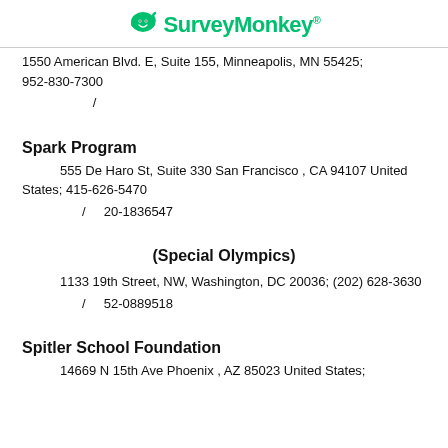SurveyMonkey®
1550 American Blvd. E, Suite 155, Minneapolis, MN 55425; 952-830-7300
/
Spark Program
555 De Haro St, Suite 330 San Francisco , CA 94107 United States; 415-626-5470
/ 20-1836547
(Special Olympics)
1133 19th Street, NW, Washington, DC 20036; (202) 628-3630
/ 52-0889518
Spitler School Foundation
14669 N 15th Ave Phoenix, AZ 85023 United States;